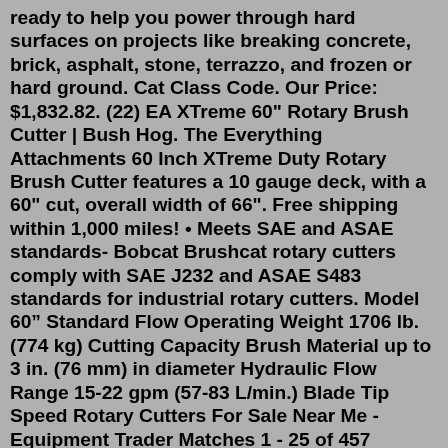ready to help you power through hard surfaces on projects like breaking concrete, brick, asphalt, stone, terrazzo, and frozen or hard ground. Cat Class Code. Our Price: $1,832.82. (22) EA XTreme 60" Rotary Brush Cutter | Bush Hog. The Everything Attachments 60 Inch XTreme Duty Rotary Brush Cutter features a 10 gauge deck, with a 60" cut, overall width of 66". Free shipping within 1,000 miles! • Meets SAE and ASAE standards- Bobcat Brushcat rotary cutters comply with SAE J232 and ASAE S483 standards for industrial rotary cutters. Model 60” Standard Flow Operating Weight 1706 lb. (774 kg) Cutting Capacity Brush Material up to 3 in. (76 mm) in diameter Hydraulic Flow Range 15-22 gpm (57-83 L/min.) Blade Tip Speed Rotary Cutters For Sale Near Me - Equipment Trader Matches 1 - 25 of 457 Premium 14 1 Stock Number: HX20 $12,900 Make An Offer 2012 JOHN DEERE HX20 Superior four-gearcase design Gearcases and blade holders for better performance Domed shape and smooth top deck is easy to clean Safety tow chains f... Email 1-